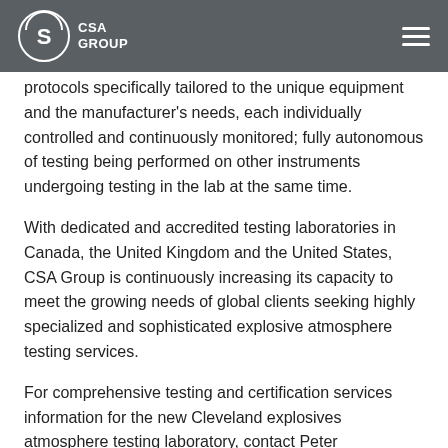CSA GROUP
protocols specifically tailored to the unique equipment and the manufacturer's needs, each individually controlled and continuously monitored; fully autonomous of testing being performed on other instruments undergoing testing in the lab at the same time.
With dedicated and accredited testing laboratories in Canada, the United Kingdom and the United States, CSA Group is continuously increasing its capacity to meet the growing needs of global clients seeking highly specialized and sophisticated explosive atmosphere testing services.
For comprehensive testing and certification services information for the new Cleveland explosives atmosphere testing laboratory, contact Peter Schimmoeller, Manager, Hazardous Locations, CSA Group at peter.schimmoeller@csagroup.org or telephone 216